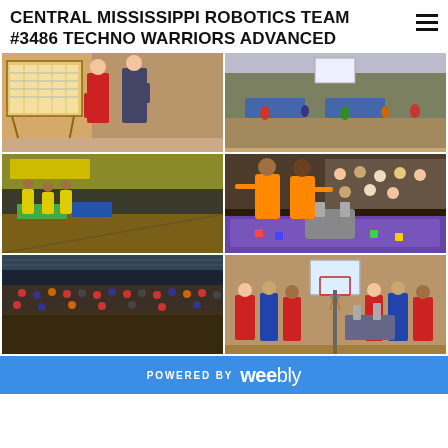CENTRAL MISSISSIPPI ROBOTICS TEAM #3486 TECHNO WARRIORS ADVANCED
[Figure (photo): Two students standing in front of a large grid/schedule board at a robotics event]
[Figure (photo): Wide shot of a gymnasium filled with students and teams competing in a robotics tournament]
[Figure (photo): gymnasium with students in yellow shirts at tables during a robotics event]
[Figure (photo): Two young boys in orange Techno Warriors shirts working with a robot on a purple competition field]
[Figure (photo): Large gymnasium filled with audience watching a robotics competition]
[Figure (photo): Group of people including coaches and students gathered around a robotics setup in a gym with a basketball hoop visible]
POWERED BY weebly